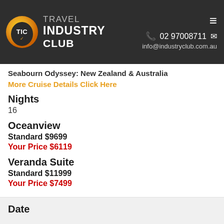TRAVEL INDUSTRY CLUB | 02 97008711 | info@industryclub.com.au
Seabourn Odyssey: New Zealand & Australia
More Cruise Details Click Here
Nights
16
Oceanview
Standard $9699
Your Price $6119
Veranda Suite
Standard $11999
Your Price $7499
Date